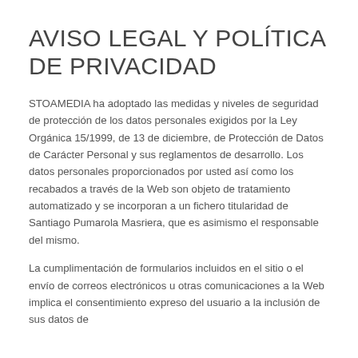AVISO LEGAL Y POLÍTICA DE PRIVACIDAD
STOAMEDIA ha adoptado las medidas y niveles de seguridad de protección de los datos personales exigidos por la Ley Orgánica 15/1999, de 13 de diciembre, de Protección de Datos de Carácter Personal y sus reglamentos de desarrollo. Los datos personales proporcionados por usted así como los recabados a través de la Web son objeto de tratamiento automatizado y se incorporan a un fichero titularidad de Santiago Pumarola Masriera, que es asimismo el responsable del mismo.
La cumplimentación de formularios incluidos en el sitio o el envío de correos electrónicos u otras comunicaciones a la Web implica el consentimiento expreso del usuario a la inclusión de sus datos de